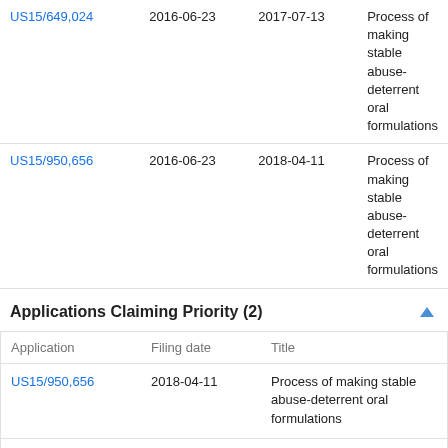| Application | Filing date | Priority date | Title |
| --- | --- | --- | --- |
| US15/649,024 | 2016-06-23 | 2017-07-13 | Process of making stable abuse-deterrent oral formulations |
| US15/950,656 | 2016-06-23 | 2018-04-11 | Process of making stable abuse-deterrent oral formulations |
Applications Claiming Priority (2)
| Application | Filing date | Title |
| --- | --- | --- |
| US15/950,656 | 2018-04-11 | Process of making stable abuse-deterrent oral formulations |
| US16/218,801 | 2018-12-13 | Process of making stable abuse-deterrent oral formulations |